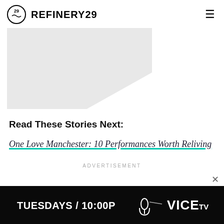REFINERY29
[Figure (illustration): Partial grey diamond/polygon shape cropped at top of content area]
Read These Stories Next:
One Love Manchester: 10 Performances Worth Reliving
ADVERTISEMENT
[Figure (screenshot): Advertisement banner: TUESDAYS / 10:00P with microphone graphic and VICE TV logo on black background]